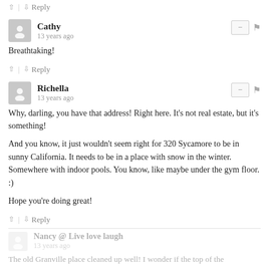↑ | ↓ Reply
Cathy
13 years ago
Breathtaking!
↑ | ↓ Reply
Richella
13 years ago
Why, darling, you have that address! Right here. It's not real estate, but it's something!

And you know, it just wouldn't seem right for 320 Sycamore to be in sunny California. It needs to be in a place with snow in the winter. Somewhere with indoor pools. You know, like maybe under the gym floor. :)

Hope you're doing great!
↑ | ↓ Reply
Nancy @ Live love laugh
13 years ago
The old Granville place cleaned up well! I wonder if the top of the